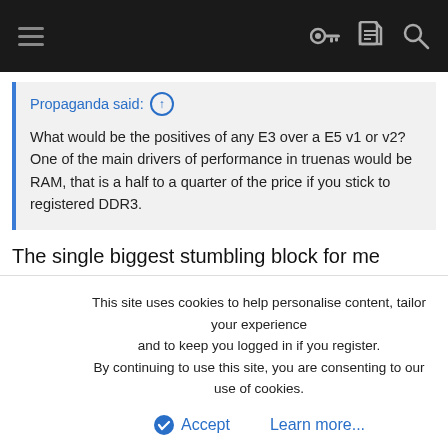Navigation bar with hamburger menu and icons
Propaganda said: ↑
What would be the positives of any E3 over a E5 v1 or v2? One of the main drivers of performance in truenas would be RAM, that is a half to a quarter of the price if you stick to registered DDR3.
The single biggest stumbling block for me would be my unfamiliarity with the LGA 2011 lineup. Looking at Supermicro options they seem to be "archived" products. Also I'm angling towards a mATX solution, which seems easy enough to find for LGA 1150, but less so for 2011. Plus if I don't need the processing power, the LGA 1150 based solution gives me the option of i3s or Pentiums. (Or Celerons, but I don't think I'd go that low.) Yes, RAM is cheaper, but looking around not that
This site uses cookies to help personalise content, tailor your experience and to keep you logged in if you register.
By continuing to use this site, you are consenting to our use of cookies.
Accept   Learn more...